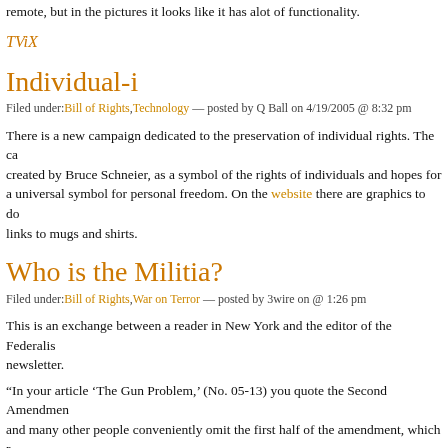remote, but in the pictures it looks like it has alot of functionality.
TViX
Individual-i
Filed under: Bill of Rights, Technology — posted by Q Ball on 4/19/2005 @ 8:32 pm
There is a new campaign dedicated to the preservation of individual rights. The ca... created by Bruce Schneier, as a symbol of the rights of individuals and hopes for a universal symbol for personal freedom. On the website there are graphics to do... links to mugs and shirts.
Who is the Militia?
Filed under: Bill of Rights, War on Terror — posted by 3wire on @ 1:26 pm
This is an exchange between a reader in New York and the editor of the Federalis... newsletter.
“In your article ‘The Gun Problem,’ (No. 05-13) you quote the Second Amendmen... and many other people conveniently omit the first half of the amendment, which r... militia. Our soldiers in Iraq, Afghanistan, South Korea, etc., are militias. Our Natio... National Guard are militias. I am not a militia, you are not a militia. This amendme... militias only. People like you need to quit omitting the first half of the amendment.... New York
Editor's Reply: Open a history book and read up on who comprised the ready “m... 1787, and you will find it was the citizenry, not a standing army or organized reser... clear in the writings of our Founders that “well regulated militia” meant “a vigilant a... citizenry.” Our founders universally detested standing armies, as, historically, they... used by monarchies to oppress the will of the people. Thus, our Founders wisely... that the best provision for the preservation of liberty was that the people be arme...